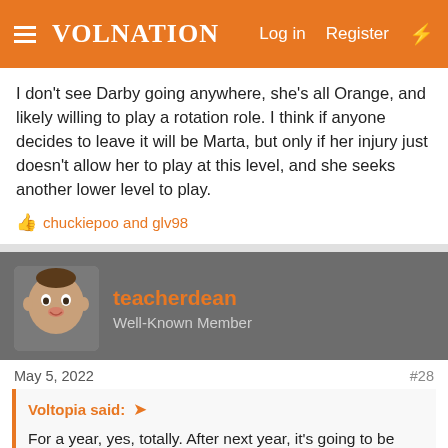VolNation — Log in  Register
I don't see Darby going anywhere, she's all Orange, and likely willing to play a rotation role. I think if anyone decides to leave it will be Marta, but only if her injury just doesn't allow her to play at this level, and she seeks another lower level to play.
chuckiepoo and glv98
teacherdean
Well-Known Member
May 5, 2022
#28
Voltopia said:
For a year, yes, totally. After next year, it's going to be very interesting to see what happens. Tennessee will be saying goodbye to Horston, Key, and now Jackson, and they will need to have the players in place to step up after that. To really revive things - to improve attendance, to grow the attention they receive